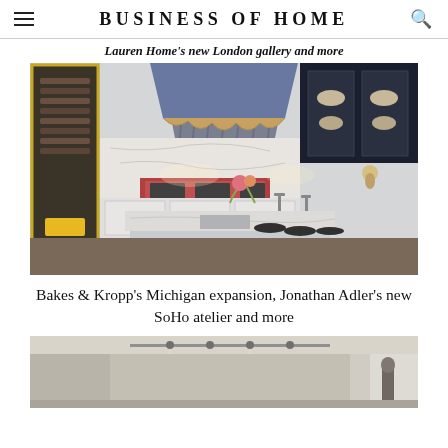BUSINESS OF HOME
Lauren Home's new London gallery and more
[Figure (photo): Luxury kitchen interior with large marble island, dark blue pendant lamp shade, wine storage cabinet on left, dark upper cabinets with glass doors on right, place settings on island]
Bakes & Kropp's Michigan expansion, Jonathan Adler's new SoHo atelier and more
[Figure (photo): Interior room with neutral tones, track lighting on ceiling, beige/gray walls, partial view of room furnishings]